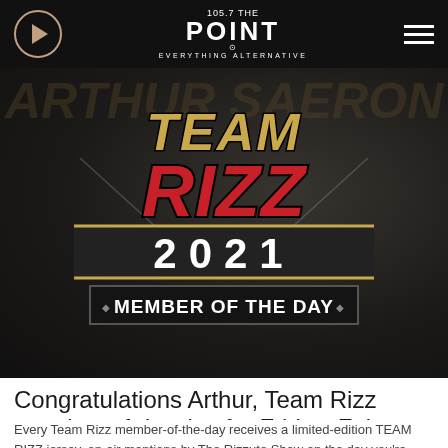105.7 THE POINT — EVERYTHING ALTERNATIVE
[Figure (logo): Team Rizz 2021 Member of the Day badge/logo on dark background with watermark text ARTHUR SAERON]
Congratulations Arthur, Team Rizz member-of-the-day for Friday, February 26th, 2021!
Every Team Rizz member-of-the-day receives a limited-edition TEAM RIZZ jersey, on-air mentions by The Rizzuto Show on the day you're selected, an on-demand song request on that day's show, a personal phone call from a member of The Rizzuto Show, and